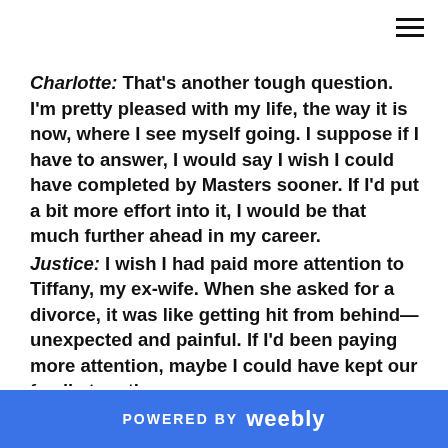Charlotte: That's another tough question. I'm pretty pleased with my life, the way it is now, where I see myself going. I suppose if I have to answer, I would say I wish I could have completed by Masters sooner. If I'd put a bit more effort into it, I would be that much further ahead in my career.
Justice: I wish I had paid more attention to Tiffany, my ex-wife. When she asked for a divorce, it was like getting hit from behind—unexpected and painful. If I'd been paying more attention, maybe I could have kept our family together.
POWERED BY weebly